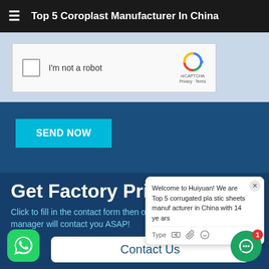Top 5 Coroplast Manufacturer In China
[Figure (screenshot): reCAPTCHA widget with checkbox labeled 'I'm not a robot' and reCAPTCHA logo with Privacy and Terms links]
SEND NOW
Get Factory Price N...
Click to fill in the contact form then our s... manager will contact you ASAP!
Contact Us
[Figure (screenshot): Chat popup: Welcome to Huiyuan! We are Top 5 corrugated plastic sheets manufacturer in China with 14 years. Type field with icons.]
[Figure (logo): WhatsApp green button bottom left]
[Figure (other): Green chat bubble button with notification badge '1' bottom right]